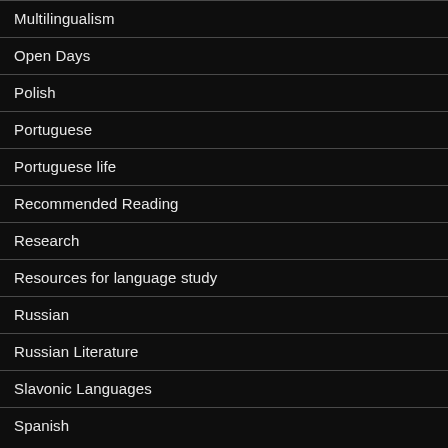Multilingualism
Open Days
Polish
Portuguese
Portuguese life
Recommended Reading
Research
Resources for language study
Russian
Russian Literature
Slavonic Languages
Spanish